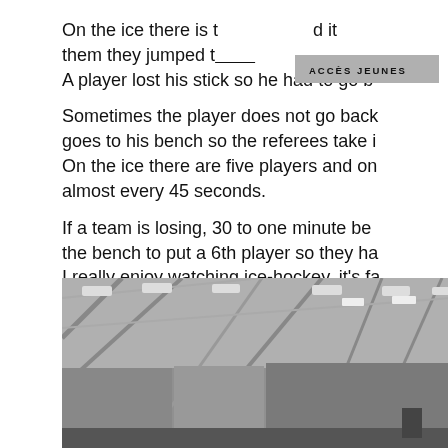On the ice there is t[...] d it them they jumped t[...] A player lost his stick so he had to go b[...]
Sometimes the player does not go back goes to his bench so the referees take i On the ice there are five players and or almost every 45 seconds. If a team is losing, 30 to one minute be the bench to put a 6th player so they ha I really enjoy watching ice-hockey, it's fa
[Figure (photo): Grayscale photograph of an ice hockey arena interior showing the ceiling structure with lights and glass panels, viewed from inside the rink.]